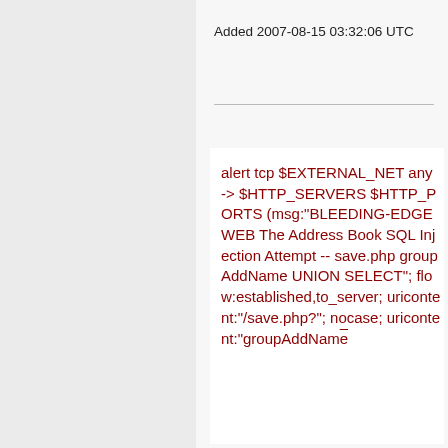Added 2007-08-15 03:32:06 UTC
alert tcp $EXTERNAL_NET any -> $HTTP_SERVERS $HTTP_PORTS (msg:"BLEEDING-EDGE WEB The Address Book SQL Injection Attempt -- save.php groupAddName UNION SELECT"; flow:established,to_server; uricontent:"/save.php?"; nocase; uricontent:"groupAddName";